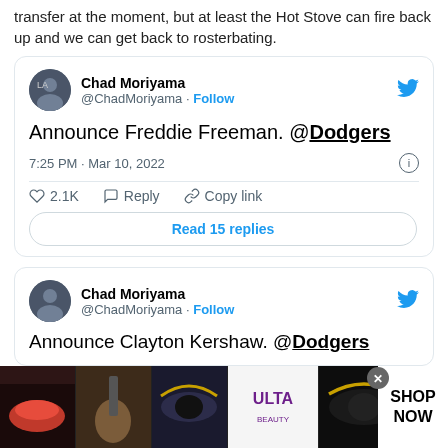transfer at the moment, but at least the Hot Stove can fire back up and we can get back to rosterbating.
[Figure (screenshot): Embedded tweet from @ChadMoriyama: 'Announce Freddie Freeman. @Dodgers' posted at 7:25 PM · Mar 10, 2022, with 2.1K likes, Reply, Copy link, and Read 15 replies button.]
[Figure (screenshot): Second embedded tweet from @ChadMoriyama: 'Announce Clayton Kershaw. @Dodgers' (partially visible).]
[Figure (photo): ULTA Beauty advertisement banner at bottom of page showing makeup/cosmetics imagery with 'SHOP NOW' text.]